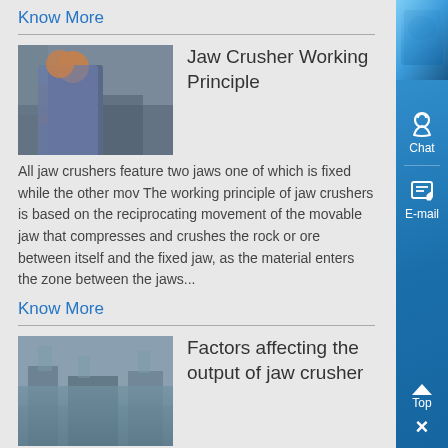Know More
Jaw Crusher Working Principle
[Figure (photo): Worker in a hard hat standing near industrial machinery]
All jaw crushers feature two jaws one of which is fixed while the other mov The working principle of jaw crushers is based on the reciprocating movement of the movable jaw that compresses and crushes the rock or ore between itself and the fixed jaw, as the material enters the zone between the jaws...
Know More
Factors affecting the output of jaw crusher
[Figure (photo): Industrial factory interior with equipment]
15-07-2020 0183 32 The jaw crusher is mainly
[Figure (illustration): Blue sidebar with Chat and E-mail icons and Top/close buttons]